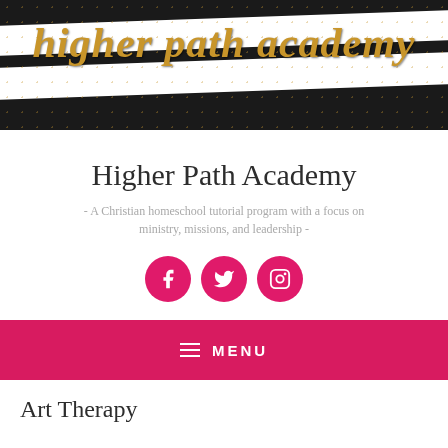[Figure (logo): Higher Path Academy banner logo with gold cursive text on black and white striped background with gold sparkle dots]
Higher Path Academy
- A Christian homeschool tutorial program with a focus on ministry, missions, and leadership -
[Figure (infographic): Three pink circular social media icons: Facebook, Twitter, Instagram]
MENU
Art Therapy